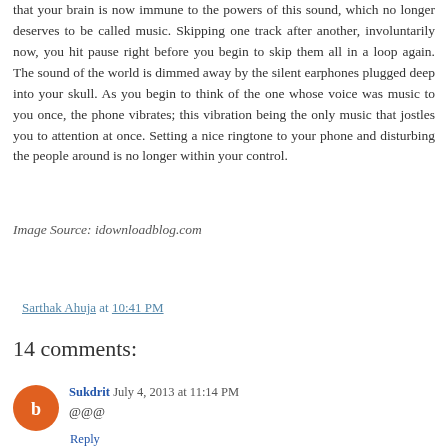that your brain is now immune to the powers of this sound, which no longer deserves to be called music. Skipping one track after another, involuntarily now, you hit pause right before you begin to skip them all in a loop again. The sound of the world is dimmed away by the silent earphones plugged deep into your skull. As you begin to think of the one whose voice was music to you once, the phone vibrates; this vibration being the only music that jostles you to attention at once. Setting a nice ringtone to your phone and disturbing the people around is no longer within your control.
Image Source: idownloadblog.com
Sarthak Ahuja at 10:41 PM
14 comments:
Sukdrit  July 4, 2013 at 11:14 PM
@@@
Reply